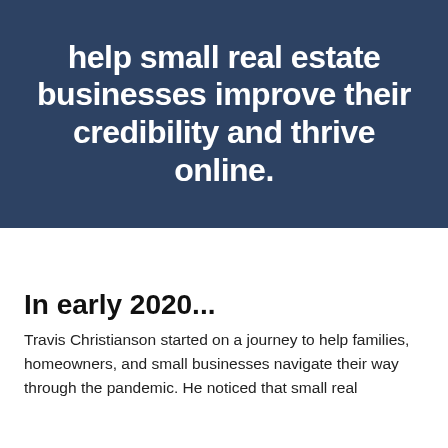help small real estate businesses improve their credibility and thrive online.
In early 2020...
Travis Christianson started on a journey to help families, homeowners, and small businesses navigate their way through the pandemic. He noticed that small real